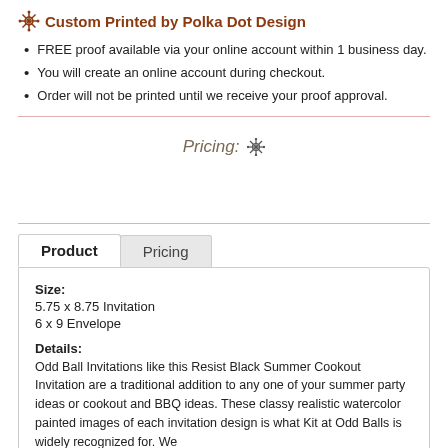Custom Printed by Polka Dot Design
FREE proof available via your online account within 1 business day.
You will create an online account during checkout.
Order will not be printed until we receive your proof approval.
Pricing:
Product  Pricing
Size:
5.75 x 8.75 Invitation
6 x 9 Envelope
Details:
Odd Ball Invitations like this Resist Black Summer Cookout Invitation are a traditional addition to any one of your summer party ideas or cookout and BBQ ideas. These classy realistic watercolor painted images of each invitation design is what Kit at Odd Balls is widely recognized for. We